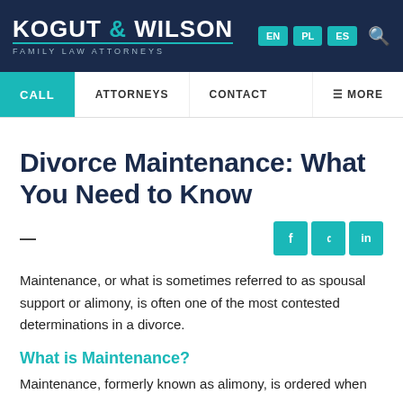KOGUT & WILSON FAMILY LAW ATTORNEYS | EN PL ES
CALL | ATTORNEYS | CONTACT | MORE
Divorce Maintenance: What You Need to Know
Maintenance, or what is sometimes referred to as spousal support or alimony, is often one of the most contested determinations in a divorce.
What is Maintenance?
Maintenance, formerly known as alimony, is ordered when